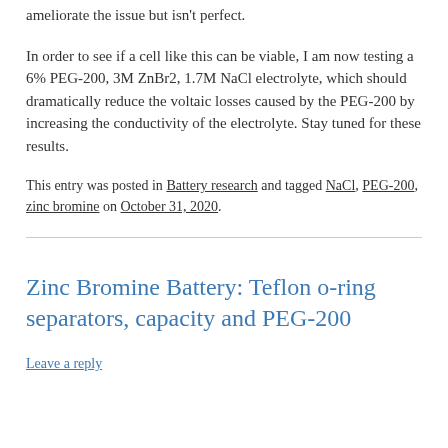ameliorate the issue but isn't perfect.
In order to see if a cell like this can be viable, I am now testing a 6% PEG-200, 3M ZnBr2, 1.7M NaCl electrolyte, which should dramatically reduce the voltaic losses caused by the PEG-200 by increasing the conductivity of the electrolyte. Stay tuned for these results.
This entry was posted in Battery research and tagged NaCl, PEG-200, zinc bromine on October 31, 2020.
Zinc Bromine Battery: Teflon o-ring separators, capacity and PEG-200
Leave a reply